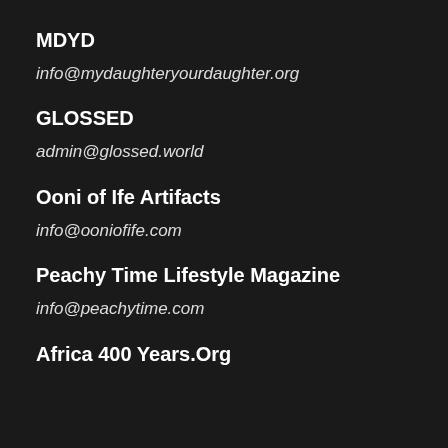MDYD
info@mydaughteryourdaughter.org
GLOSSED
admin@glossed.world
Ooni of Ife Artifacts
info@ooniofife.com
Peachy Time Lifestyle Magazine
info@peachytime.com
Africa 400 Years.Org